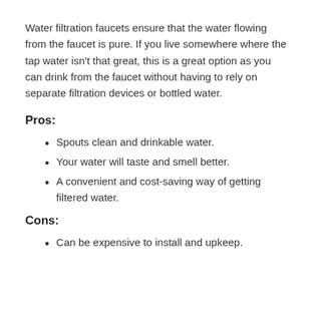Water filtration faucets ensure that the water flowing from the faucet is pure. If you live somewhere where the tap water isn't that great, this is a great option as you can drink from the faucet without having to rely on separate filtration devices or bottled water.
Pros:
Spouts clean and drinkable water.
Your water will taste and smell better.
A convenient and cost-saving way of getting filtered water.
Cons:
Can be expensive to install and upkeep.